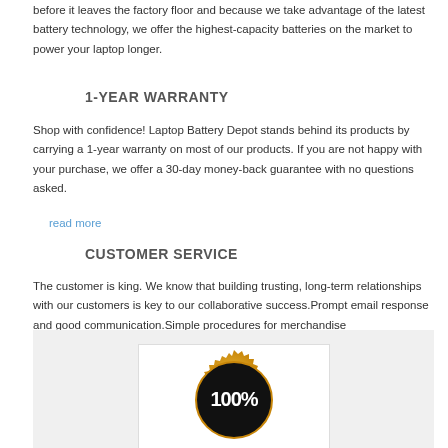before it leaves the factory floor and because we take advantage of the latest battery technology, we offer the highest-capacity batteries on the market to power your laptop longer.
1-YEAR WARRANTY
Shop with confidence! Laptop Battery Depot stands behind its products by carrying a 1-year warranty on most of our products. If you are not happy with your purchase, we offer a 30-day money-back guarantee with no questions asked.
read more
CUSTOMER SERVICE
The customer is king. We know that building trusting, long-term relationships with our customers is key to our collaborative success.Prompt email response and good communication.Simple procedures for merchandise return,exchange,or replacement.
[Figure (illustration): A gold and black circular badge/seal with '100%' text displayed prominently on a light gray background]